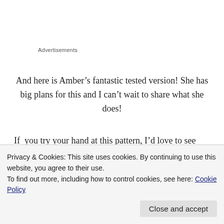Advertisements
And here is Amber’s fantastic tested version! She has big plans for this and I can’t wait to share what she does!
If you try your hand at this pattern, I’d love to see what you do with it over in the Sewhooked Facebook Group! Not on Facebook? Tag me on Instagram (@sewhookedjen) or Twitter (@sewhooked)!
Privacy & Cookies: This site uses cookies. By continuing to use this website, you agree to their use.
To find out more, including how to control cookies, see here: Cookie Policy
Close and accept